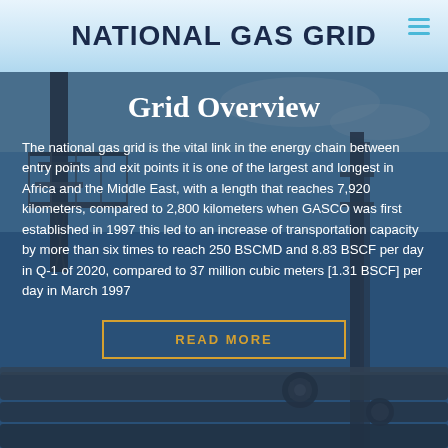NATIONAL GAS GRID
[Figure (photo): Industrial gas pipeline infrastructure photograph showing steel pipes, valves, and elevated metal walkway/platform structure against a blue sky background]
Grid Overview
The national gas grid is the vital link in the energy chain between entry points and exit points it is one of the largest and longest in Africa and the Middle East, with a length that reaches 7,920 kilometers, compared to 2,800 kilometers when GASCO was first established in 1997 this led to an increase of transportation capacity by more than six times to reach 250 BSCMD and 8.83 BSCF per day in Q-1 of 2020, compared to 37 million cubic meters [1.31 BSCF] per day in March 1997
READ MORE